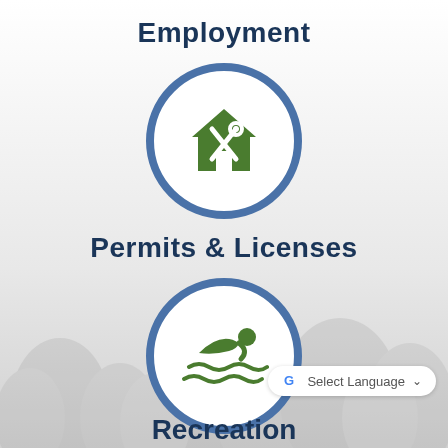Employment
[Figure (illustration): Circular icon with blue border containing a green house with crossed wrench and screwdriver tools, representing employment/home services]
Permits & Licenses
[Figure (illustration): Circular icon with blue border containing a green swimming person with wave lines below, representing recreation/swimming]
Recreation
[Figure (logo): Google Translate button with G logo and 'Select Language' dropdown text]